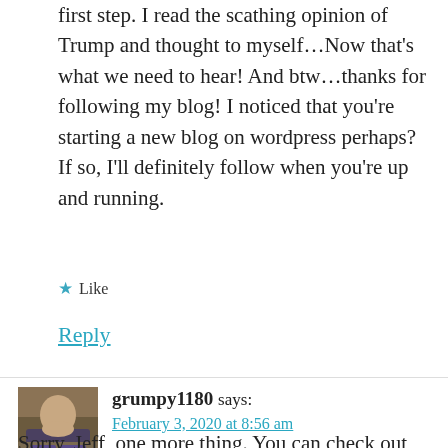first step. I read the scathing opinion of Trump and thought to myself...Now that's what we need to hear! And btw...thanks for following my blog! I noticed that you're starting a new blog on wordpress perhaps? If so, I'll definitely follow when you're up and running.
★ Like
Reply
grumpy1180 says:
February 3, 2020 at 8:56 am
Sorry, Jeff, one more thing. You can check out